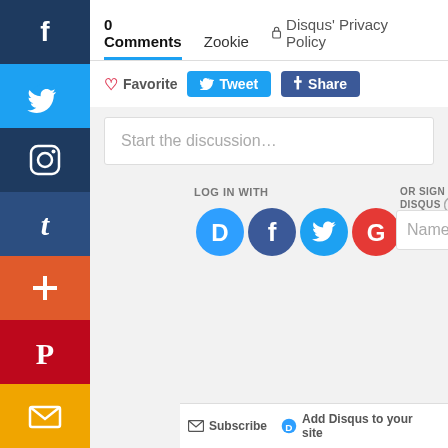[Figure (screenshot): Social media sharing sidebar with icons for Facebook, Twitter, Instagram, Tumblr, Google+, Pinterest, and email/mail]
0 Comments
Zookie
Disqus' Privacy Policy
Favorite
Tweet
Share
Start the discussion...
LOG IN WITH
OR SIGN UP WITH DISQUS
Name
Subscribe
Add Disqus to your site
Do Not Sell M